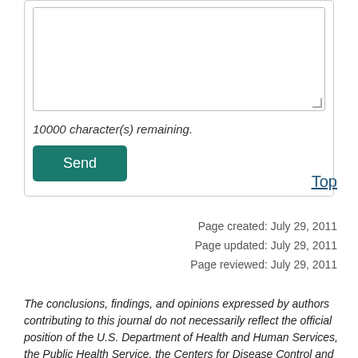10000 character(s) remaining.
Send
Top
Page created: July 29, 2011
Page updated: July 29, 2011
Page reviewed: July 29, 2011
The conclusions, findings, and opinions expressed by authors contributing to this journal do not necessarily reflect the official position of the U.S. Department of Health and Human Services, the Public Health Service, the Centers for Disease Control and Prevention, or the authors' affiliated